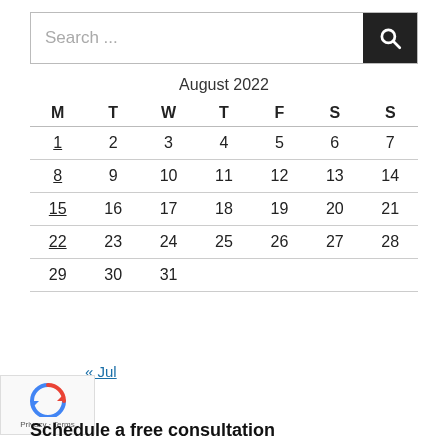[Figure (screenshot): Search bar with text 'Search ...' and a dark search button with magnifier icon]
| M | T | W | T | F | S | S |
| --- | --- | --- | --- | --- | --- | --- |
| 1 | 2 | 3 | 4 | 5 | 6 | 7 |
| 8 | 9 | 10 | 11 | 12 | 13 | 14 |
| 15 | 16 | 17 | 18 | 19 | 20 | 21 |
| 22 | 23 | 24 | 25 | 26 | 27 | 28 |
| 29 | 30 | 31 |  |  |  |  |
« Jul
[Figure (logo): Google reCAPTCHA badge with Privacy and Terms links]
Schedule a free consultation